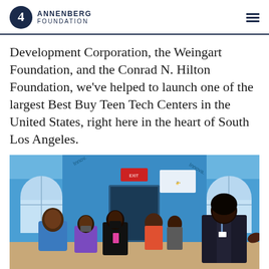Annenberg Foundation
Development Corporation, the Weingart Foundation, and the Conrad N. Hilton Foundation, we've helped to launch one of the largest Best Buy Teen Tech Centers in the United States, right here in the heart of South Los Angeles.
[Figure (photo): People gathered inside a blue-walled Best Buy Teen Tech Center. A young person in a blazer with a lanyard is speaking or presenting on the right, gesturing with their hand. Several visitors and attendees are visible, some wearing masks, one taking a photo with a phone. Large arched windows are visible in the background along with signage reading 'Innovate'.]